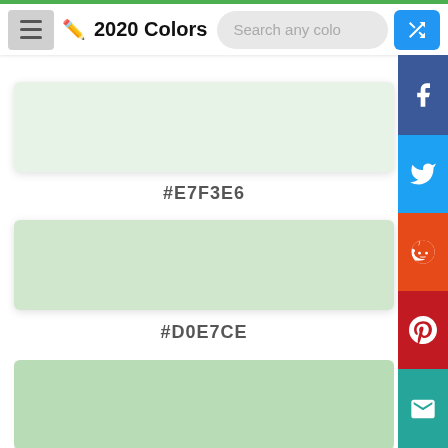2020 Colors
[Figure (other): Color swatch showing #E7F3E6 light green color]
#E7F3E6
[Figure (other): Color swatch showing #D0E7CE light green color]
#D0E7CE
[Figure (other): Color swatch showing a slightly darker light green color (third swatch, partially visible)]